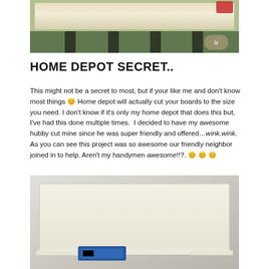[Figure (photo): Outdoor photo of a large wooden board being cut on a workbench, with power tools visible in the background and people standing behind.]
HOME DEPOT SECRET..
This might not be a secret to most, but if your like me and don't know most things 😊 Home depot will actually cut your boards to the size you need. I don't know if it's only my home depot that does this but, I've had this done multiple times.  I decided to have my awesome hubby cut mine since he was super friendly and offered…wink.wink.  As you can see this project was so awesome our friendly neighbor joined in to help. Aren't my handymen awesome!!?. 😊 😊 😊
[Figure (photo): Photo of a white/light-colored wooden board laid flat on a concrete surface with a strip of wood along the bottom edge and a blue clamp or tool visible at the bottom center.]